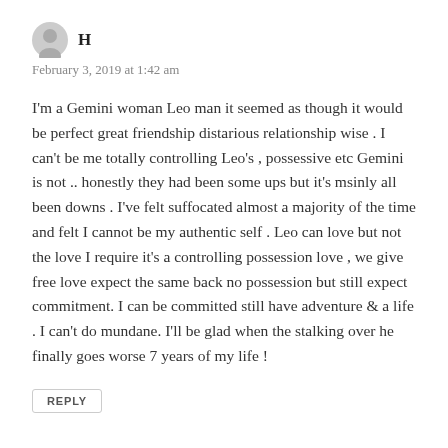H
February 3, 2019 at 1:42 am
I'm a Gemini woman Leo man it seemed as though it would be perfect great friendship distarious relationship wise . I can't be me totally controlling Leo's , possessive etc Gemini is not .. honestly they had been some ups but it's msinly all been downs . I've felt suffocated almost a majority of the time and felt I cannot be my authentic self . Leo can love but not the love I require it's a controlling possession love , we give free love expect the same back no possession but still expect commitment. I can be committed still have adventure & a life . I can't do mundane. I'll be glad when the stalking over he finally goes worse 7 years of my life !
REPLY